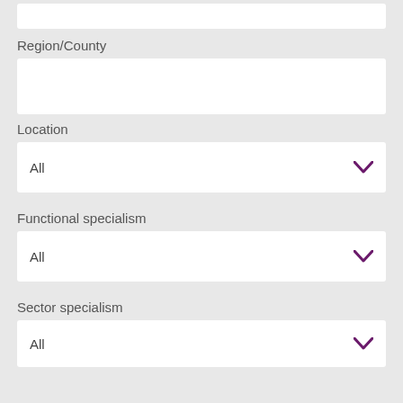Region/County
Location
All
Functional specialism
All
Sector specialism
All